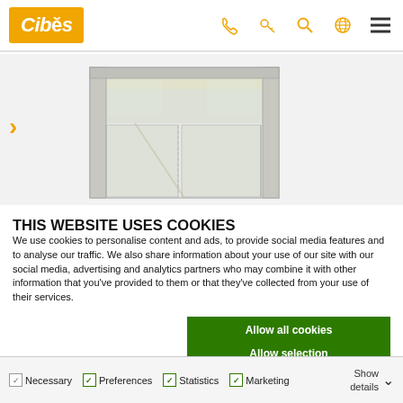Cibes — navigation header with phone, key, search, globe, and menu icons
[Figure (photo): Partial view of a glass elevator cabin in a white/silver frame, shown from an angle. An orange right-pointing chevron arrow is on the left side, and orange rotated text 'Req' appears vertically on the far left.]
THIS WEBSITE USES COOKIES
We use cookies to personalise content and ads, to provide social media features and to analyse our traffic. We also share information about your use of our site with our social media, advertising and analytics partners who may combine it with other information that you've provided to them or that they've collected from your use of their services.
Allow all cookies
Allow selection
Use necessary cookies only
Necessary  Preferences  Statistics  Marketing  Show details